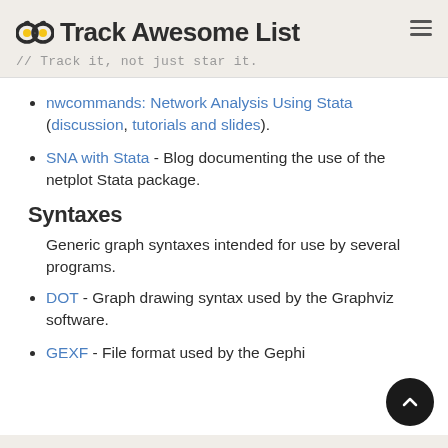Track Awesome List // Track it, not just star it.
nwcommands: Network Analysis Using Stata (discussion, tutorials and slides).
SNA with Stata - Blog documenting the use of the netplot Stata package.
Syntaxes
Generic graph syntaxes intended for use by several programs.
DOT - Graph drawing syntax used by the Graphviz software.
GEXF - File format used by the Gephi software.